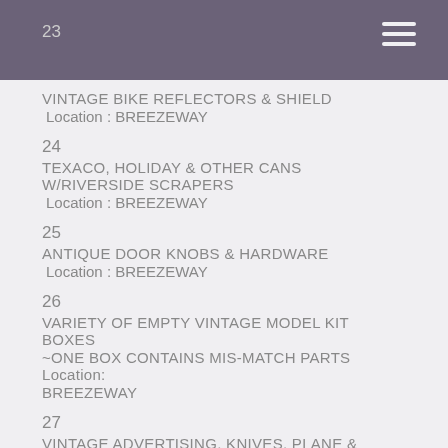23
VINTAGE BIKE REFLECTORS & SHIELD
 Location: BREEZEWAY
24
TEXACO, HOLIDAY & OTHER CANS W/RIVERSIDE SCRAPERS
 Location: BREEZEWAY
25
ANTIQUE DOOR KNOBS & HARDWARE
 Location: BREEZEWAY
26
VARIETY OF EMPTY VINTAGE MODEL KIT BOXES
~ONE BOX CONTAINS MIS-MATCH PARTS Location: BREEZEWAY
27
VINTAGE ADVERTISING, KNIVES, PLANE & MORE
~"UNION PACIFIC" MOVIE RAILROAD SPIKE, 1941 DODGE